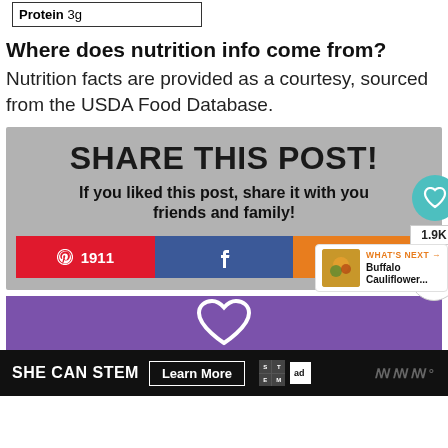| Protein 3g |
Where does nutrition info come from?
Nutrition facts are provided as a courtesy, sourced from the USDA Food Database.
[Figure (infographic): Share This Post social sharing widget with heading 'SHARE THIS POST!', subtitle 'If you liked this post, share it with your friends and family!', and three share buttons: Pinterest (1911), Facebook (f), Yummly. Floating heart icon (teal), count 1.9K, and share icon on right side. 'What's Next: Buffalo Cauliflower...' panel bottom right.]
[Figure (infographic): Purple section with white heart outline icon.]
[Figure (infographic): SHE CAN STEM advertisement banner with 'Learn More' button, STEM grid logo, Ad Council logo, and Marquee Brands logo on black background.]